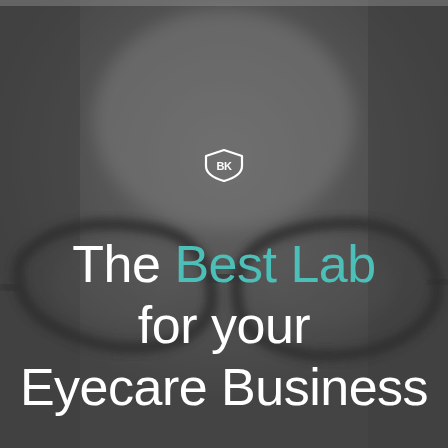[Figure (photo): Blurred grayscale background photo of a person wearing glasses, with the glasses frame visible in the lower half of the image. Dark gray/charcoal tones throughout.]
[Figure (logo): Small white stylized logo resembling an eye or glasses shape with letters BK, centered on the page.]
The Best Lab for your Eyecare Business